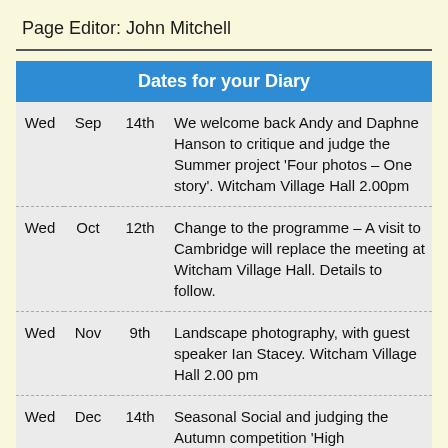Page Editor: John Mitchell
| Dates for your Diary |
| --- |
| Wed | Sep | 14th | We welcome back Andy and Daphne Hanson to critique and judge the Summer project 'Four photos – One story'. Witcham Village Hall 2.00pm |
| Wed | Oct | 12th | Change to the programme – A visit to Cambridge will replace the meeting at Witcham Village Hall. Details to follow. |
| Wed | Nov | 9th | Landscape photography, with guest speaker Ian Stacey. Witcham Village Hall 2.00 pm |
| Wed | Dec | 14th | Seasonal Social and judging the Autumn competition 'High |